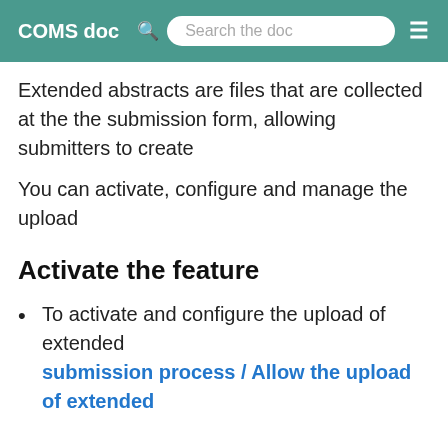COMS doc  Search the doc
Extended abstracts are files that are collected at the the submission form, allowing submitters to create
You can activate, configure and manage the upload
Activate the feature
To activate and configure the upload of extended submission process / Allow the upload of extended
Configure the uploads
Once you activate the function, you can set size li